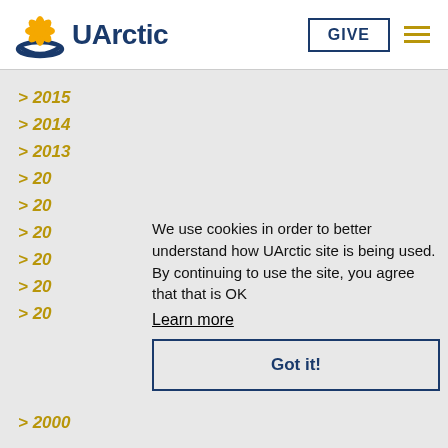[Figure (logo): UArctic logo with yellow flower and blue arc, followed by bold text 'UArctic']
> 2015
> 2014
> 2013
> 20
> 20
> 20
> 20
> 20
> 20
We use cookies in order to better understand how UArctic site is being used. By continuing to use the site, you agree that that is OK
Learn more
Got it!
> 2000